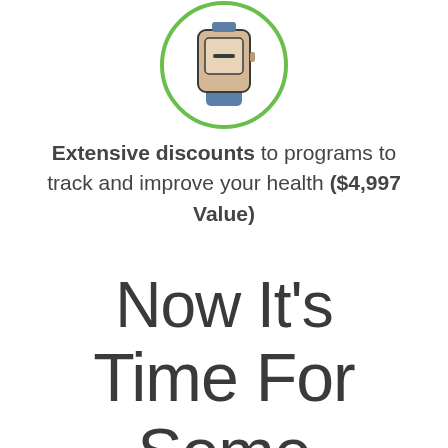[Figure (illustration): Icon of a fitness tracker / smartwatch device inside a green circle outline. The device has a beige/tan body with a small screen showing a minus/dash symbol, and a blue band/strap at the bottom.]
Extensive discounts to programs to track and improve your health ($4,997 Value)
Now It's Time For Some